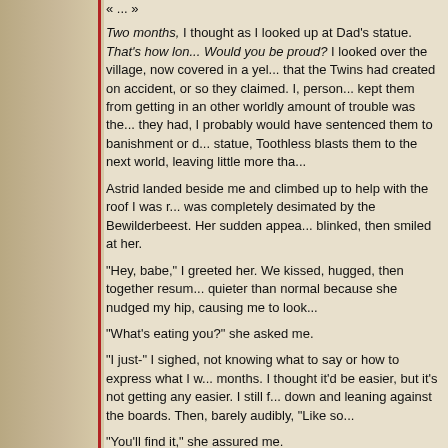« ... »
Two months, I thought as I looked up at Dad's statue. That's how long... Would you be proud? I looked over the village, now covered in a yel... that the Twins had created on accident, or so they claimed. I, perso... kept them from getting in an other worldly amount of trouble was the... they had, I probably would have sentenced them to banishment or d... statue, Toothless blasts them to the next world, leaving little more tha...
Astrid landed beside me and climbed up to help with the roof I was r... was completely desimated by the Bewilderbeest. Her sudden appea... blinked, then smiled at her.
"Hey, babe," I greeted her. We kissed, hugged, then together resum... quieter than normal because she nudged my hip, causing me to look...
"What's eating you?" she asked me.
"I just-" I sighed, not knowing what to say or how to express what I w... months. I thought it'd be easier, but it's not getting any easier. I still f... down and leaning against the boards. Then, barely audibly, "Like so...
"You'll find it," she assured me.
"No, you don't get it, Astrid. I've started having these strange dreams... someone, anyone, about the dreams I'd begun having since Dad's d...
"That's perfectly normal for someone who lost a loved one, Hiccup. I...
"Not like this. I had these dreams when I was a kid too. I'm sitting in... that terrifies me, then suddenly a voice breaks through, singing a so... remembering something. Last night I noticed something I hadn't befo...